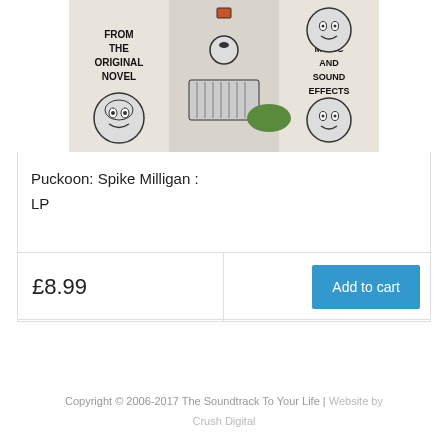[Figure (illustration): Album cover artwork for Puckoon by Spike Milligan. Black and white comic illustration showing cartoon faces in circles, a pianist, and comic figures. Text reads 'FROM THE ORIGINAL NOVEL' on left and 'WITH MUSIC AND SOUND EFFECTS' on right.]
Puckoon: Spike Milligan :
LP
£8.99
Add to cart
Copyright © 2006-2017 The Soundtrack To Your Life | Website by Crush Digital